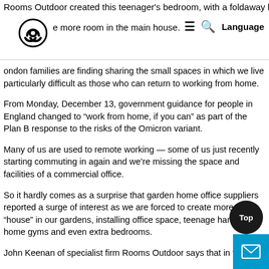Rooms Outdoor created this teenager's bedroom, with a foldaway bed to [biohazard icon] e more room in the main house. [hamburger] [search] Language
ondon families are finding sharing the small spaces in which we live particularly difficult as those who can return to working from home.
From Monday, December 13, government guidance for people in England changed to “work from home, if you can” as part of the Plan B response to the risks of the Omicron variant.
Many of us are used to remote working — some of us just recently starting commuting in again and we’re missing the space and facilities of a commercial office.
So it hardly comes as a surprise that garden home office suppliers reported a surge of interest as we are forced to create more “house” in our gardens, installing office space, teenage hangouts, home gyms and even extra bedrooms.
John Keenan of specialist firm Rooms Outdoor says that in the